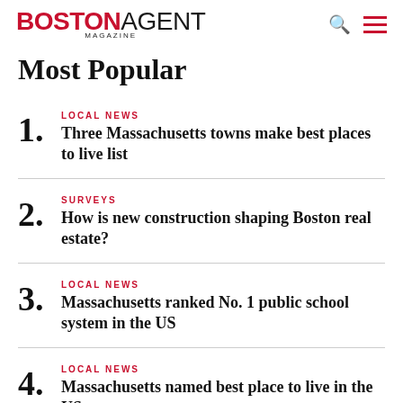BOSTON AGENT MAGAZINE
Most Popular
LOCAL NEWS — Three Massachusetts towns make best places to live list
SURVEYS — How is new construction shaping Boston real estate?
LOCAL NEWS — Massachusetts ranked No. 1 public school system in the US
LOCAL NEWS — Massachusetts named best place to live in the US